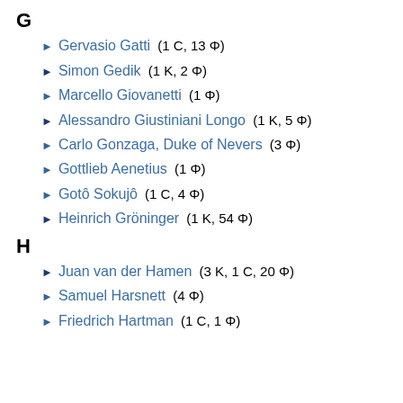G
Gervasio Gatti (1 C, 13 Φ)
Simon Gedik (1 K, 2 Φ)
Marcello Giovanetti (1 Φ)
Alessandro Giustiniani Longo (1 K, 5 Φ)
Carlo Gonzaga, Duke of Nevers (3 Φ)
Gottlieb Aenetius (1 Φ)
Gotô Sokujô (1 C, 4 Φ)
Heinrich Gröninger (1 K, 54 Φ)
H
Juan van der Hamen (3 K, 1 C, 20 Φ)
Samuel Harsnett (4 Φ)
Friedrich Hartman (1 C, 1 Φ)